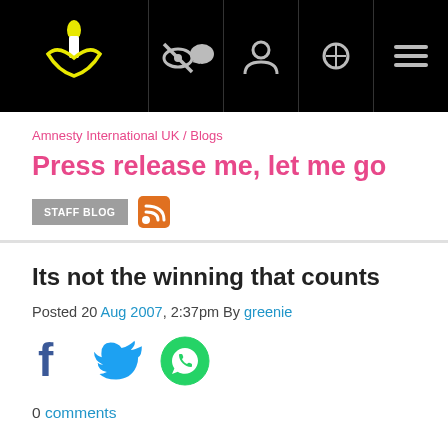Amnesty International navigation bar with logo and icons
Amnesty International UK / Blogs
Press release me, let me go
STAFF BLOG
Its not the winning that counts
Posted 20 Aug 2007, 2:37pm By greenie
[Figure (other): Social sharing icons: Facebook, Twitter, WhatsApp]
0 comments